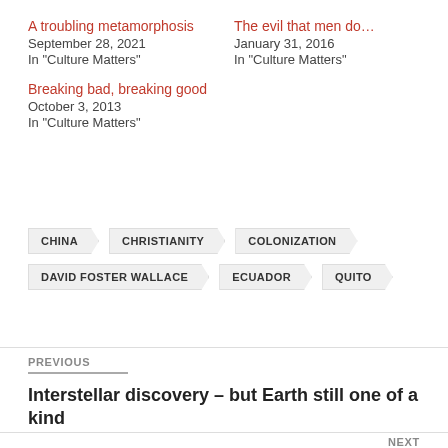A troubling metamorphosis
September 28, 2021
In "Culture Matters"
The evil that men do…
January 31, 2016
In "Culture Matters"
Breaking bad, breaking good
October 3, 2013
In "Culture Matters"
CHINA
CHRISTIANITY
COLONIZATION
DAVID FOSTER WALLACE
ECUADOR
QUITO
PREVIOUS
Interstellar discovery – but Earth still one of a kind
NEXT